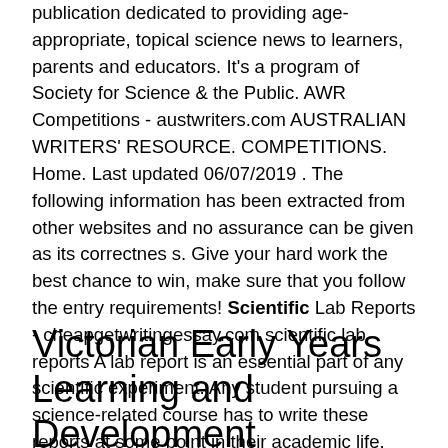publication dedicated to providing age-appropriate, topical science news to learners, parents and educators. It's a program of Society for Science & the Public. AWR Competitions - austwriters.com AUSTRALIAN WRITERS' RESOURCE. COMPETITIONS. Home. Last updated 06/07/2019 . The following information has been extracted from other websites and no assurance can be given as its correctnes s. Give your hard work the best chance to win, make sure that you follow the entry requirements! Scientific Lab Reports - cheapgetwritingessay.com scientific lab reports A lab report is an essential part of any scientific experiment. Any student pursuing a science-related course has to write these reports at some point in their academic life. Topics For Literature Based Research Paper - Resources for ...
Victorian Early Years Learning and Development Framework ... Science, Biology; Chemistry;